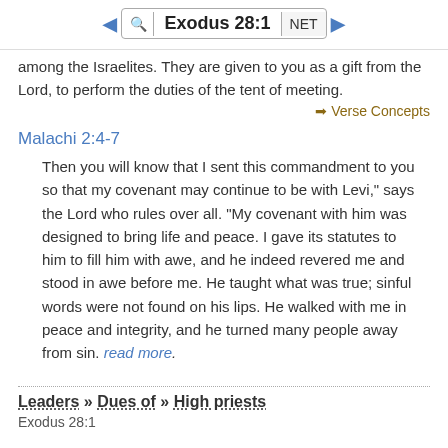Exodus 28:1 | NET
among the Israelites. They are given to you as a gift from the Lord, to perform the duties of the tent of meeting.
→ Verse Concepts
Malachi 2:4-7
Then you will know that I sent this commandment to you so that my covenant may continue to be with Levi," says the Lord who rules over all. "My covenant with him was designed to bring life and peace. I gave its statutes to him to fill him with awe, and he indeed revered me and stood in awe before me. He taught what was true; sinful words were not found on his lips. He walked with me in peace and integrity, and he turned many people away from sin. read more.
Leaders » Dues of » High priests
Exodus 28:1